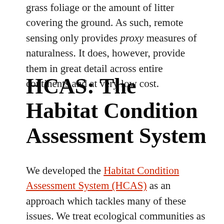grass foliage or the amount of litter covering the ground. As such, remote sensing only provides proxy measures of naturalness. It does, however, provide them in great detail across entire continents and at very low cost.
HCAS: The Habitat Condition Assessment System
We developed the Habitat Condition Assessment System (HCAS) as an approach which tackles many of these issues. We treat ecological communities as continuous in space and naturally dynamic; varying within and between years. In a nutshell, our approach uses a host of both remotely sensed vegetation